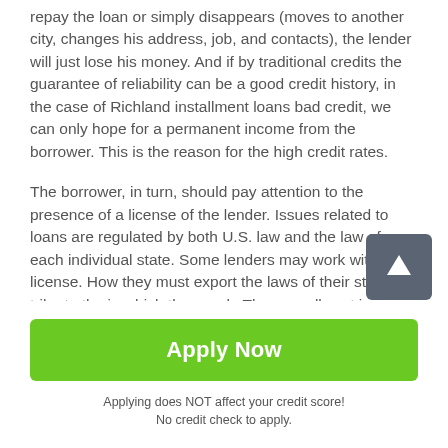repay the loan or simply disappears (moves to another city, changes his address, job, and contacts), the lender will just lose his money. And if by traditional credits the guarantee of reliability can be a good credit history, in the case of Richland installment loans bad credit, we can only hope for a permanent income from the borrower. This is the reason for the high credit rates.
The borrower, in turn, should pay attention to the presence of a license of the lender. Issues related to loans are regulated by both U.S. law and the law of each individual state. Some lenders may work without a license. How they must export the laws of their state or tribe to the in which they work. They usually act in accordance with
[Figure (other): Dark grey scroll-to-top button with a white upward arrow icon]
Apply Now
Applying does NOT affect your credit score!
No credit check to apply.